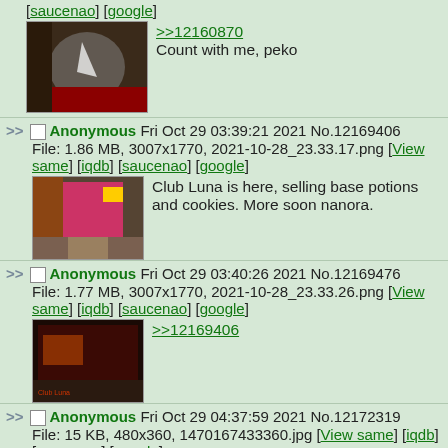[saucenao] [google]
[Figure (screenshot): Thumbnail of a 3D game screenshot showing a figure in a circular arena]
>>12160870
Count with me, peko
>> Anonymous Fri Oct 29 03:39:21 2021 No.12169406
File: 1.86 MB, 3007x1770, 2021-10-28_23.33.17.png [View same] [iqdb] [saucenao] [google]
[Figure (screenshot): Thumbnail of a Minecraft screenshot showing a pink building]
Club Luna is here, selling base potions and cookies. More soon nanora.
>> Anonymous Fri Oct 29 03:40:26 2021 No.12169476
File: 1.77 MB, 3007x1770, 2021-10-28_23.33.26.png [View same] [iqdb] [saucenao] [google]
[Figure (screenshot): Thumbnail of a dark Minecraft interior screenshot]
>>12169406
>> Anonymous Fri Oct 29 04:37:59 2021 No.12172319
File: 15 KB, 480x360, 1470167433360.jpg [View same] [iqdb] [saucenao] [google]
[Figure (screenshot): Partial thumbnail at bottom of page]